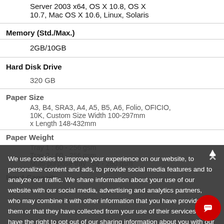Server 2003 x64, OS X 10.8, OS X 10.7, Mac OS X 10.6, Linux, Solaris
Memory (Std./Max.)
2GB/10GB
Hard Disk Drive
320 GB
Paper Size
A3, B4, SRA3, A4, A5, B5, A6, Folio, OFICIO, 10K, Custom Size Width 100-297mm x Length 148-432mm
Paper Weight
Tray 1 : 60 - 256 gsm
Tray 2 : 60 - 256 gsm
Multi-purpose tray : 52 - 280 gsm
Input Capacity
We use cookies to improve your experience on our website, to personalize content and ads, to provide social media features and to analyze our traffic. We share information about your use of our website with our social media, advertising and analytics partners, who may combine it with other information that you have provided to them or that they have collected from your use of their services. You have the right to opt out of our sharing information about you with our partners. Please click [Do Not Sell My Personal Information] to customize your cookie settings on our website. Privacy Policy
Do Not Sell My Personal Information
OK